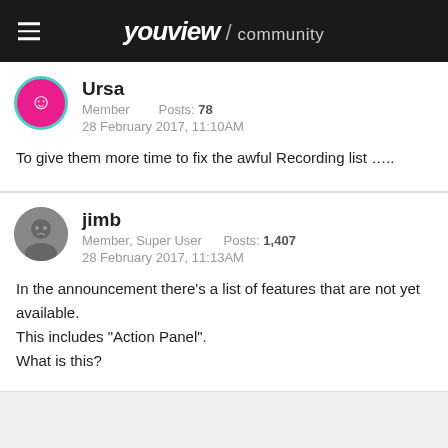youview / community
Ursa
Member    Posts: 78
28 February 2017, 11:10AM
To give them more time to fix the awful Recording list …..
jimb
Member, Super User    Posts: 1,407
28 February 2017, 11:13AM
In the announcement there's a list of features that are not yet available.
This includes "Action Panel".
What is this?